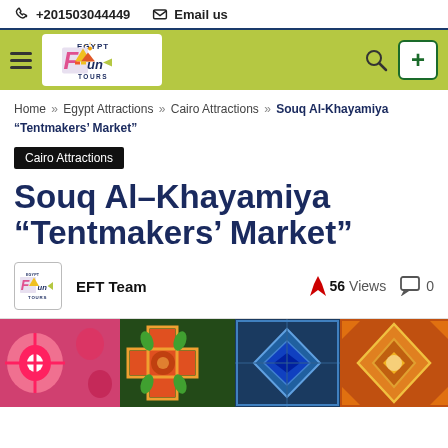+201503044449  Email us
[Figure (logo): Egypt Fun Tours navigation bar with logo, hamburger menu, search icon, and plus button on green background]
Home » Egypt Attractions » Cairo Attractions » Souq Al-Khayamiya "Tentmakers' Market"
Cairo Attractions
Souq Al-Khayamiya "Tentmakers' Market"
EFT Team   56 Views   0
[Figure (photo): Colorful embroidered textile patterns at the Tentmakers Market, showing geometric and floral designs in bright colors]